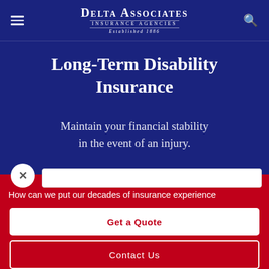[Figure (logo): Delta Associates Insurance Agencies logo — Established 1886, white text on navy background]
Long-Term Disability Insurance
Maintain your financial stability in the event of an injury.
How can we put our decades of insurance experience
Get a Quote
Contact Us